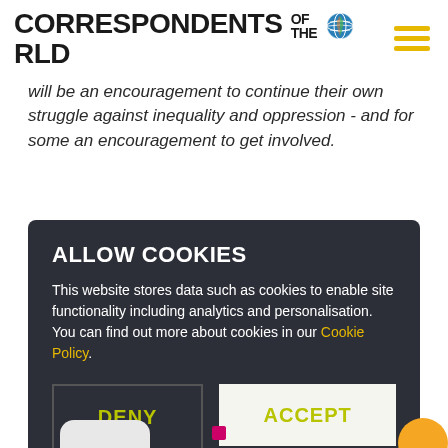CORRESPONDENTS OF THE WORLD
will be an encouragement to continue their own struggle against inequality and oppression - and for some an encouragement to get involved.
ALLOW COOKIES
This website stores data such as cookies to enable site functionality including analytics and personalisation. You can find out more about cookies in our Cookie Policy.